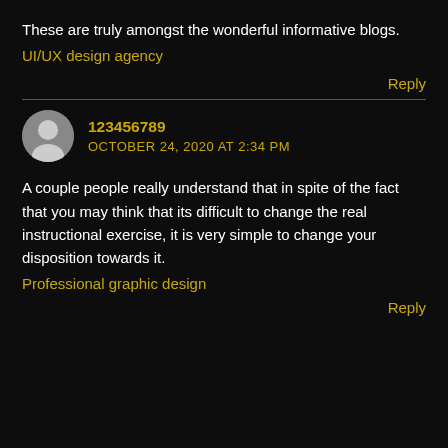These are truly amongst the wonderful informative blogs.
UI/UX design agency
Reply
123456789
OCTOBER 24, 2020 AT 2:34 PM
A couple people really understand that in spite of the fact that you may think that its difficult to change the real instructional exercise, it is very simple to change your disposition towards it.
Professional graphic design
Reply